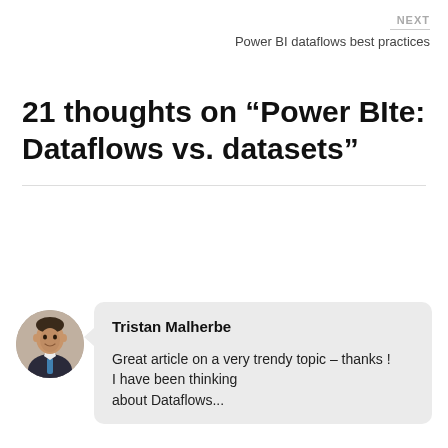NEXT
Power BI dataflows best practices
21 thoughts on “Power BIte: Dataflows vs. datasets”
Tristan Malherbe
Great article on a very trendy topic – thanks ! I have been thinking about Dataflows...